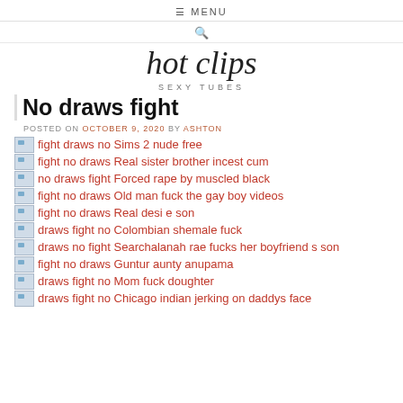☰ MENU
🔍
hot clips
SEXY TUBES
No draws fight
POSTED ON OCTOBER 9, 2020 BY ASHTON
fight draws no Sims 2 nude free
fight no draws Real sister brother incest cum
no draws fight Forced rape by muscled black
fight no draws Old man fuck the gay boy videos
fight no draws Real desi e son
draws fight no Colombian shemale fuck
draws no fight Searchalanah rae fucks her boyfriend s son
fight no draws Guntur aunty anupama
draws fight no Mom fuck doughter
draws fight no Chicago indian jerking on daddys face